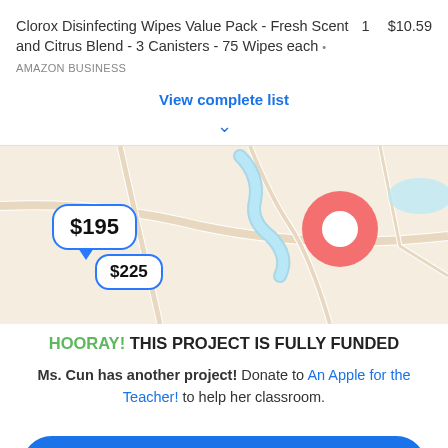Clorox Disinfecting Wipes Value Pack - Fresh Scent and Citrus Blend - 3 Canisters - 75 Wipes each • AMAZON BUSINESS   1   $10.59
View complete list
[Figure (map): Map showing two price bubbles ($195 and $225) and a red location pin marker on a beige road map background.]
HOORAY! THIS PROJECT IS FULLY FUNDED
Ms. Cun has another project! Donate to An Apple for the Teacher! to help her classroom.
Help Ms. Cun